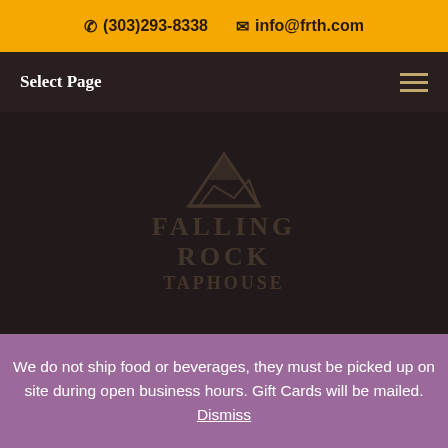✆ (303)293-8338   ✉ info@frth.com
Select Page
[Figure (logo): Falling Rock Taphouse watermark logo with mountain/rock icon, text FALLING ROCK TAPHOUSE in dark overlay on dark background]
We do not ship food or beverages, they must be picked up on site during open business hours. Gift Cards will be mailed. Dismiss